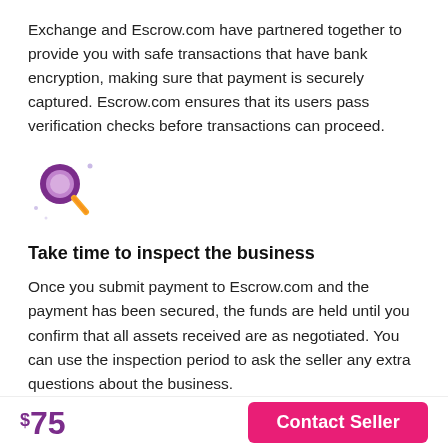Exchange and Escrow.com have partnered together to provide you with safe transactions that have bank encryption, making sure that payment is securely captured. Escrow.com ensures that its users pass verification checks before transactions can proceed.
[Figure (illustration): Purple magnifying glass icon with sparkle dots, representing inspection or search.]
Take time to inspect the business
Once you submit payment to Escrow.com and the payment has been secured, the funds are held until you confirm that all assets received are as negotiated. You can use the inspection period to ask the seller any extra questions about the business.
[Figure (illustration): Purple shield icon with a yellow arrow pointing right, representing security or transfer, with sparkle dots.]
$75  Contact Seller